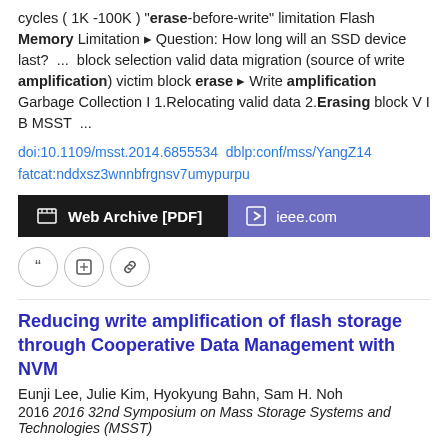cycles ( 1K -100K ) "erase-before-write" limitation Flash Memory Limitation ▸ Question: How long will an SSD device last?  ...  block selection valid data migration (source of write amplification) victim block erase ▸ Write amplification Garbage Collection I 1.Relocating valid data 2.Erasing block V I B MSST  ...
doi:10.1109/msst.2014.6855534  dblp:conf/mss/YangZ14 fatcat:nddxsz3wnnbfrgnsv7umypurpu
[Figure (other): Two buttons: 'Web Archive [PDF]' (black background) and 'ieee.com' (purple background)]
[Figure (other): Three circular icon buttons: quote, edit, and link icons]
Reducing write amplification of flash storage through Cooperative Data Management with NVM
Eunji Lee, Julie Kim, Hyokyung Bahn, Sam H. Noh
2016 2016 32nd Symposium on Mass Storage Systems and Technologies (MSST)
To reduce write amplification, this paper presents a new technique that cooperatively manages data in flash storage and nonvolatile memory (NVM).  ...  Write amplification is a critical factor that limits the stable performance of flash-based storage systems.  ...  Flash memory is an erase-before-write medium and the erasure unit